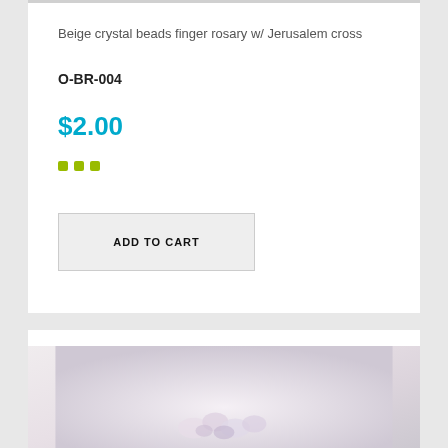Beige crystal beads finger rosary w/ Jerusalem cross
O-BR-004
$2.00
[Figure (illustration): Three small yellow-green square dots forming a color swatch row]
ADD TO CART
[Figure (photo): Photo of beige crystal beads finger rosary against a light lavender-grey background]